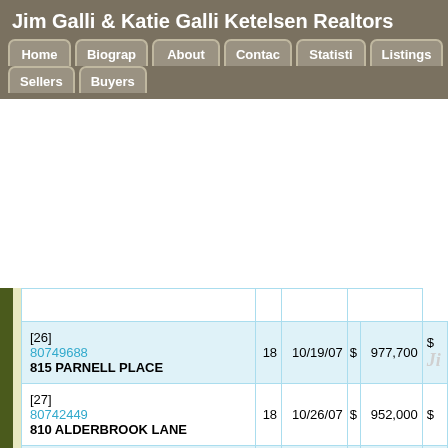Jim Galli & Katie Galli Ketelsen Realtors
Navigation: Home | Biography | About | Contact | Statistics | Listings | Sellers | Buyers
| Listing | Days | Date | List Price | Sale Price |
| --- | --- | --- | --- | --- |
| [26]
80749688
815 PARNELL PLACE | 18 | 10/19/07 | $ 977,700 | $ |
| [27]
80742449
810 ALDERBROOK LANE | 18 | 10/26/07 | $ 952,000 | $ |
| [28]
80751318
10696 JOHANSEN DRIVE | 18 | 10/10/07 | $ 830,000 | $ |